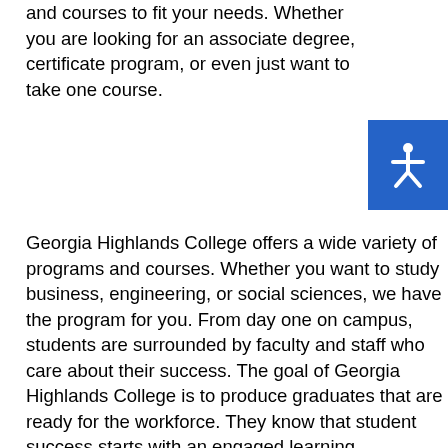and courses to fit your needs. Whether you are looking for an associate degree, certificate program, or even just want to take one course.
[Figure (other): Accessibility icon button - blue square with white human figure silhouette (universal accessibility symbol)]
Georgia Highlands College offers a wide variety of programs and courses. Whether you want to study business, engineering, or social sciences, we have the program for you. From day one on campus, students are surrounded by faculty and staff who care about their success. The goal of Georgia Highlands College is to produce graduates that are ready for the workforce. They know that student success starts with an engaged learning environment, they offer personalized attention from their first class to graduation day.
The campus is beautiful with plenty of green space for students to enjoy outside or just relax on one of the benches